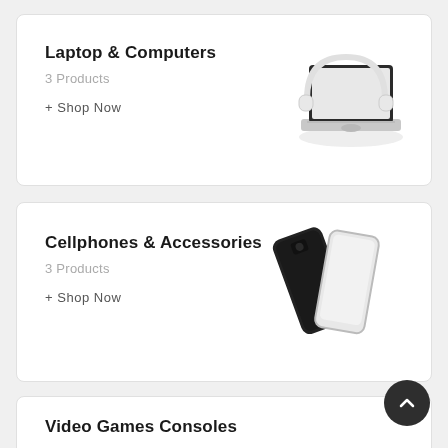Laptop & Computers
3 Products
+ Shop Now
[Figure (illustration): Laptop with white headphones on keyboard]
Cellphones & Accessories
3 Products
+ Shop Now
[Figure (illustration): Two smartphones, one black and one white/silver, overlapping]
Video Games Consoles
[Figure (illustration): PS4 Grand Theft Auto V game box]